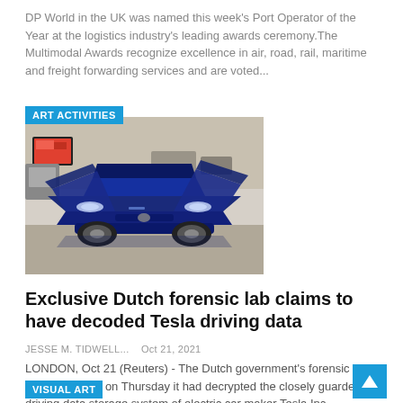DP World in the UK was named this week's Port Operator of the Year at the logistics industry's leading awards ceremony.The Multimodal Awards recognize excellence in air, road, rail, maritime and freight forwarding services and are voted...
ART ACTIVITIES
[Figure (photo): A blue Tesla electric car with gull-wing doors open, photographed from the front at an indoor auto show or showroom. The car is a deep blue metallic color and the background shows other vehicles and displays.]
Exclusive Dutch forensic lab claims to have decoded Tesla driving data
JESSE M. TIDWELL...   Oct 21, 2021
LONDON, Oct 21 (Reuters) - The Dutch government's forensic laboratory said on Thursday it had decrypted the closely guarded driving data storage system of electric car maker Tesla Inc (TSLA.O), revealing a mine information that could be...
VISUAL ART